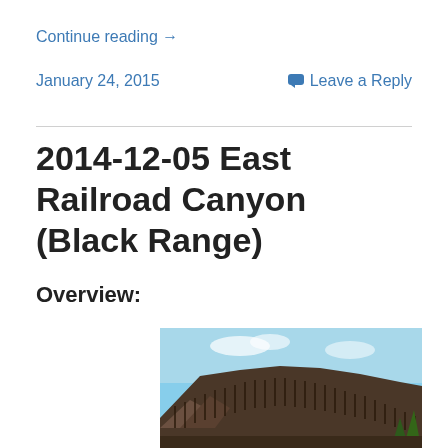Continue reading →
January 24, 2015
Leave a Reply
2014-12-05 East Railroad Canyon (Black Range)
Overview:
[Figure (photo): Mountain ridge with bare trees against a blue sky, showing a rocky canyon landscape in the Black Range]